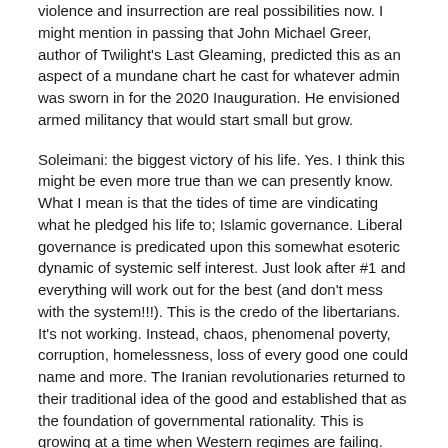violence and insurrection are real possibilities now. I might mention in passing that John Michael Greer, author of Twilight's Last Gleaming, predicted this as an aspect of a mundane chart he cast for whatever admin was sworn in for the 2020 Inauguration. He envisioned armed militancy that would start small but grow.
Soleimani: the biggest victory of his life. Yes. I think this might be even more true than we can presently know. What I mean is that the tides of time are vindicating what he pledged his life to; Islamic governance. Liberal governance is predicated upon this somewhat esoteric dynamic of systemic self interest. Just look after #1 and everything will work out for the best (and don't mess with the system!!!). This is the credo of the libertarians. It's not working. Instead, chaos, phenomenal poverty, corruption, homelessness, loss of every good one could name and more. The Iranian revolutionaries returned to their traditional idea of the good and established that as the foundation of governmental rationality. This is growing at a time when Western regimes are failing.
Israel is in trouble – yes. I think this is a consequence of